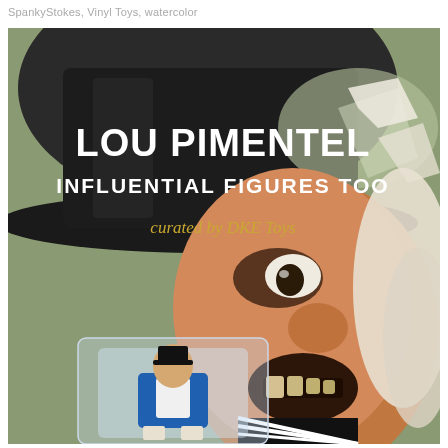SpankyStokes, Vinyl Toys, watercolor
[Figure (illustration): Watercolor artwork for Lou Pimentel's 'Influential Figures Too' exhibition curated by DKE Toys. The background features a dramatic watercolor painting of a villain character with a tall black top hat, wild white hair, menacing expression with dark eye makeup, and a large open mouth showing teeth. In the foreground lower portion is a plastic-packaged action figure of a character in a blue tuxedo jacket with white accents. Text overlaid on the image reads: 'LOU PIMENTEL' in large bold white letters, 'INFLUENTIAL FIGURES TOO' in white, and 'curated by DKE Toys' in gold/yellow italic text.]